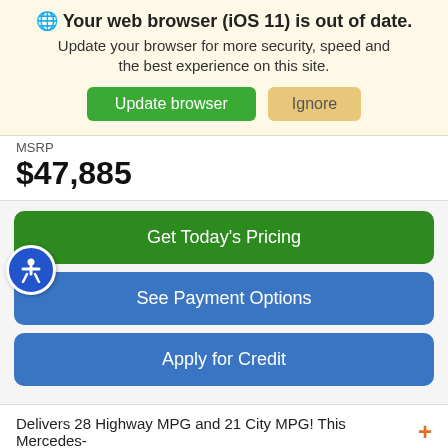🌐 Your web browser (iOS 11) is out of date. Update your browser for more security, speed and the best experience on this site. [Update browser] [Ignore]
MSRP
$47,885
Get Today's Pricing
See Payment Options
Apply for Credit
Delivers 28 Highway MPG and 21 City MPG! This Mercedes-
Search  Saved  Share  Contact